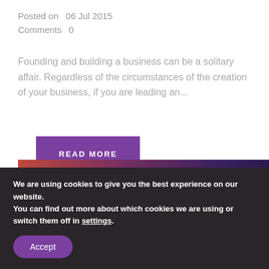Posted on   06 Jul 2015
Comments  0
Founding and building a business can be a solitary affair. Regardless of the circumstances of the creation of your business, if you are leading an...
READ MORE
[Figure (photo): Partial image strip visible at bottom of main content area, showing warm red/purple gradient tones]
We are using cookies to give you the best experience on our website.
You can find out more about which cookies we are using or switch them off in settings.
Accept